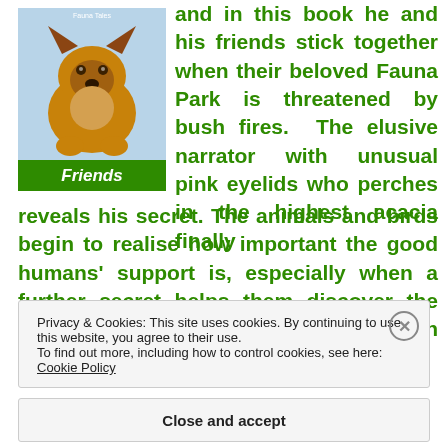[Figure (illustration): Book cover showing a dog (German Shepherd) illustration with a green title bar reading 'Friends']
and in this book he and his friends stick together when their beloved Fauna Park is threatened by bush fires.  The elusive narrator with unusual pink eyelids who perches in the highest acacia finally reveals his secret. The animals and birds begin to realise how important the good humans' support is, especially when a further secret helps them discover the identity of someone who can communicate with them in their own language. Faunalang
Privacy & Cookies: This site uses cookies. By continuing to use this website, you agree to their use.
To find out more, including how to control cookies, see here: Cookie Policy
Close and accept